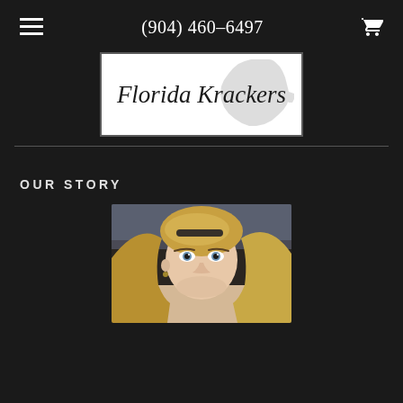(904) 460-6497
[Figure (logo): Florida Krackers logo with cursive text and Florida state silhouette on white background with dark border]
OUR STORY
[Figure (photo): Close-up photo of a blonde woman with blue eyes looking at the camera, taken from inside a car]